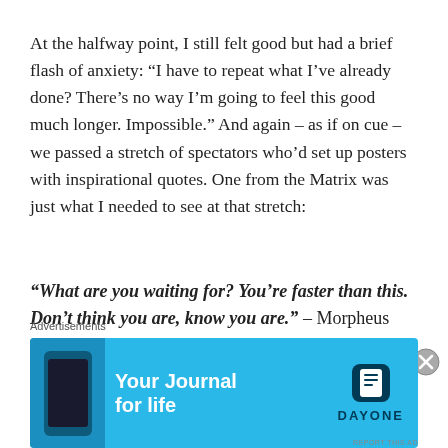At the halfway point, I still felt good but had a brief flash of anxiety: “I have to repeat what I’ve already done? There’s no way I’m going to feel this good much longer. Impossible.” And again – as if on cue – we passed a stretch of spectators who’d set up posters with inspirational quotes. One from the Matrix was just what I needed to see at that stretch:
“What are you waiting for? You’re faster than this. Don’t think you are, know you are.” – Morpheus
As I passed that sign I read it out loud to myself. I
Advertisements
[Figure (other): Advertisement banner for Day One journal app with light blue background, phone graphic on left, 'Your Journal for life' text in white bold, and Day One logo on right.]